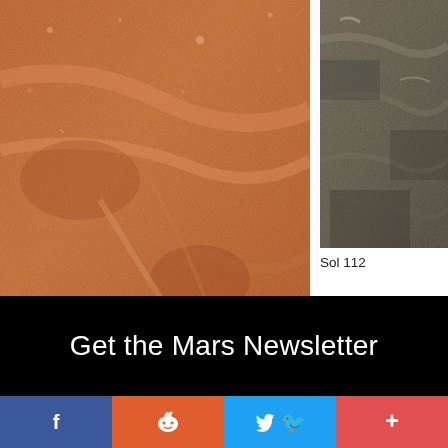[Figure (photo): Close-up Mars surface photograph taken by Mars Hand Lens Imager (MAHLI) on Sol 2049, showing reddish-orange layered rock texture]
Sol 2049: Mars Hand Lens Imager (MAHLI)
[Figure (photo): Partial Mars surface photograph, showing grey-brown rocky terrain, partially cropped, Sol 112x]
Sol 112
Get the Mars Newsletter
Facebook | Reddit | Twitter | Plus